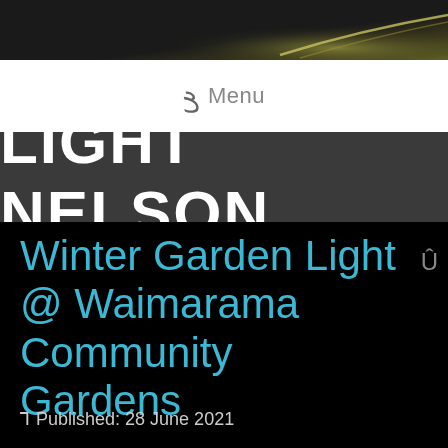[Figure (screenshot): Dark top banner with gradient suggesting a photo background]
Menu
LIGHT NELSON
Winter Garden Light @ Waimarama Community Gardens
Published: 28 June 2021